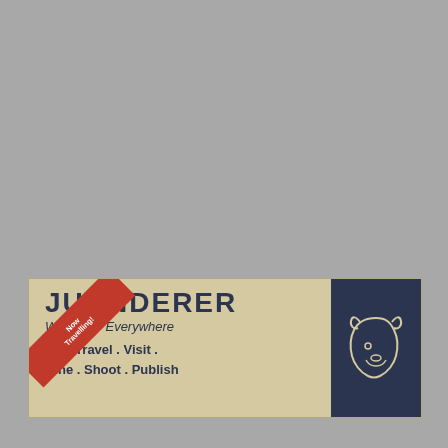[Figure (logo): Juanderer brand logo banner on tan/parchment background. Features large bold text 'JUANDERER', subtitle 'Wanderer Everywhere', tagline 'We . Travel . Visit . Dine . Shoot . Publish', a dark navy square with a bear silhouette outline on the right, and a red diagonal ribbon banner on the lower left reading 'Now Travelling!']